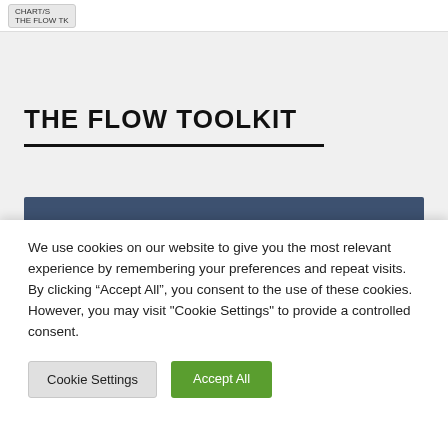CHART/S | THE FLOW TOOLKIT
THE FLOW TOOLKIT
[Figure (other): Dark blue/slate horizontal banner bar]
We use cookies on our website to give you the most relevant experience by remembering your preferences and repeat visits. By clicking “Accept All”, you consent to the use of these cookies. However, you may visit "Cookie Settings" to provide a controlled consent.
Cookie Settings   Accept All